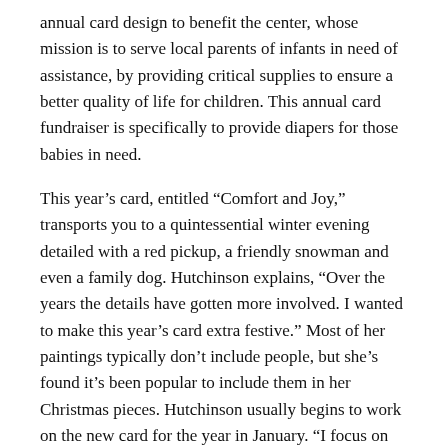annual card design to benefit the center, whose mission is to serve local parents of infants in need of assistance, by providing critical supplies to ensure a better quality of life for children. This annual card fundraiser is specifically to provide diapers for those babies in need.
This year's card, entitled “Comfort and Joy,” transports you to a quintessential winter evening detailed with a red pickup, a friendly snowman and even a family dog. Hutchinson explains, “Over the years the details have gotten more involved. I wanted to make this year’s card extra festive.” Most of her paintings typically don’t include people, but she’s found it’s been popular to include them in her Christmas pieces. Hutchinson usually begins to work on the new card for the year in January. “I focus on whatever charity I’m doing at the time and think about what would make a really nice card for them,” she says. Hutchinson first began making these cards for hospice care and then went on to create them for Child and Family Services, the Dana-Farber Cancer Institute in Boston, the Pine Tree Society, the Housing Assistance Corporation of Cape Cod, Cape Abilities, and now A